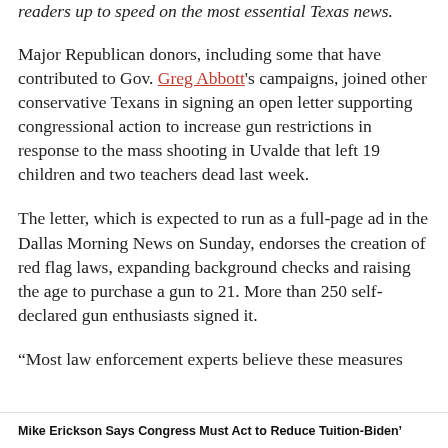readers up to speed on the most essential Texas news.
Major Republican donors, including some that have contributed to Gov. Greg Abbott's campaigns, joined other conservative Texans in signing an open letter supporting congressional action to increase gun restrictions in response to the mass shooting in Uvalde that left 19 children and two teachers dead last week.
The letter, which is expected to run as a full-page ad in the Dallas Morning News on Sunday, endorses the creation of red flag laws, expanding background checks and raising the age to purchase a gun to 21. More than 250 self-declared gun enthusiasts signed it.
“Most law enforcement experts believe these measures
Mike Erickson Says Congress Must Act to Reduce Tuition-Biden’